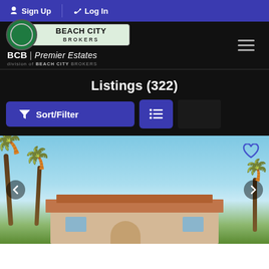Sign Up  Log In
[Figure (logo): Beach City Brokers logo with oval green emblem and BCB | Premier Estates branding on dark background]
Listings (322)
Sort/Filter  [list view toggle]
[Figure (photo): Exterior photo of a single-story desert home with Spanish tile roof, palm trees, and blue sky. Navigation arrows and heart icon overlay.]